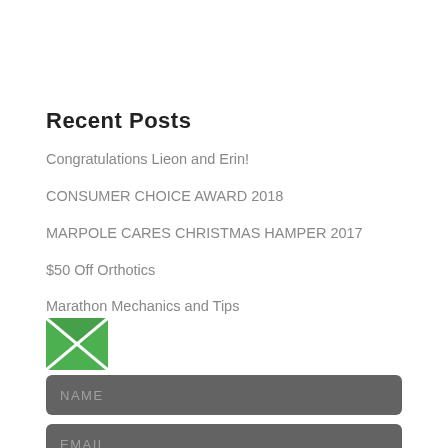Recent Posts
Congratulations Lieon and Erin!
CONSUMER CHOICE AWARD 2018
MARPOLE CARES CHRISTMAS HAMPER 2017
$50 Off Orthotics
Marathon Mechanics and Tips
[Figure (illustration): Green envelope/email icon]
NAME
EMAIL